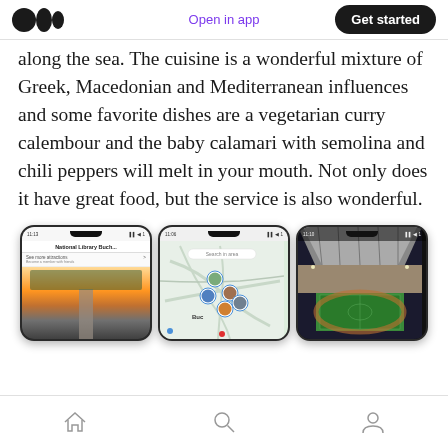Medium logo | Open in app | Get started
along the sea. The cuisine is a wonderful mixture of Greek, Macedonian and Mediterranean influences and some favorite dishes are a vegetarian curry calembour and the baby calamari with semolina and chili peppers will melt in your mouth. Not only does it have great food, but the service is also wonderful.
[Figure (screenshot): Three smartphone screenshots showing a travel app: first shows National Library Bucharest listing with aerial city photo, second shows a map with location pins around Bucharest, third shows a stadium interior photo.]